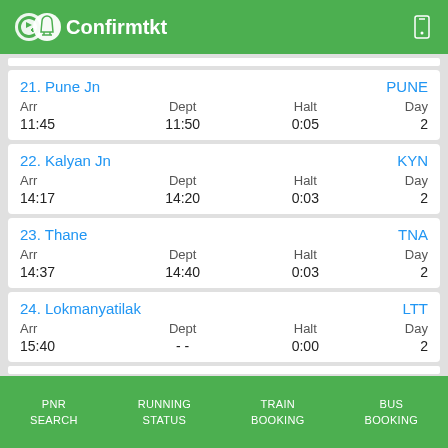Confirmtkt
| Station | Code | Arr | Dept | Halt | Day |
| --- | --- | --- | --- | --- | --- |
| 21. Pune Jn | PUNE | 11:45 | 11:50 | 0:05 | 2 |
| 22. Kalyan Jn | KYN | 14:17 | 14:20 | 0:03 | 2 |
| 23. Thane | TNA | 14:37 | 14:40 | 0:03 | 2 |
| 24. Lokmanyatilak | LTT | 15:40 | -- | 0:00 | 2 |
PNR SEARCH   RUNNING STATUS   TRAIN BOOKING   BUS BOOKING